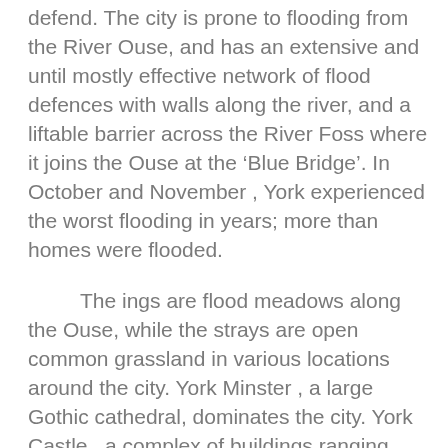defend. The city is prone to flooding from the River Ouse, and has an extensive and until mostly effective network of flood defences with walls along the river, and a liftable barrier across the River Foss where it joins the Ouse at the ‘Blue Bridge’. In October and November , York experienced the worst flooding in years; more than homes were flooded.
The ings are flood meadows along the Ouse, while the strays are open common grassland in various locations around the city. York Minster , a large Gothic cathedral, dominates the city. York Castle , a complex of buildings ranging from the medieval Clifford’s Tower to the 20th-century entrance to the York Castle Museum formerly a prison has had a chequered history. York’s centre is enclosed by the city’s medieval walls , which are a popular walk. They have the only walls set on high ramparts and they retain all their principal gateways.